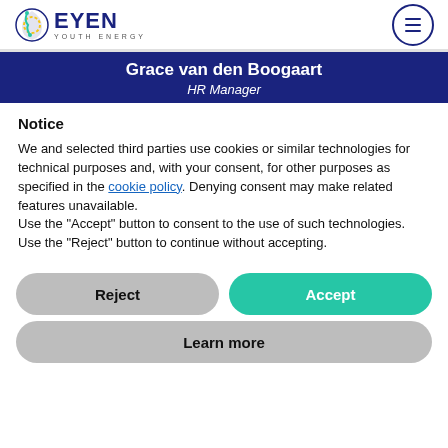EYEN YOUTH ENERGY
Grace van den Boogaart
HR Manager
Notice
We and selected third parties use cookies or similar technologies for technical purposes and, with your consent, for other purposes as specified in the cookie policy. Denying consent may make related features unavailable.
Use the "Accept" button to consent to the use of such technologies. Use the "Reject" button to continue without accepting.
Reject
Accept
Learn more